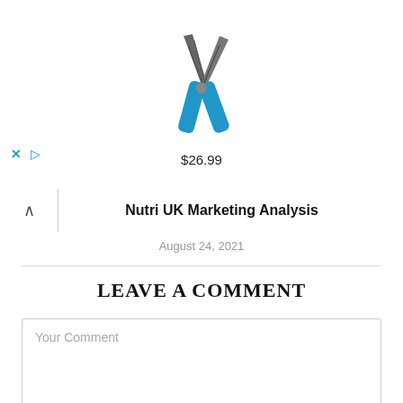[Figure (photo): Advertisement banner showing pliers/needle-nose pliers with blue handles priced at $26.99]
$26.99
Nutri UK Marketing Analysis
August 24, 2021
LEAVE A COMMENT
Your Comment
Name*